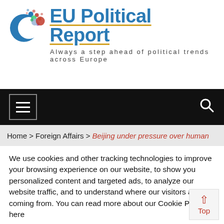[Figure (logo): EU Political Report logo with colorful dots and blue crescent shape, followed by blue bold text 'EU Political Report' with golden underline and tagline 'Always a step ahead of political trends across Europe']
Navigation bar with hamburger menu icon and search icon on black background
Home > Foreign Affairs > Beijing under pressure over human
We use cookies and other tracking technologies to improve your browsing experience on our website, to show you personalized content and targeted ads, to analyze our website traffic, and to understand where our visitors are coming from. You can read more about our Cookie Policy here
Cookie settings   ACCEPT and CLOSE